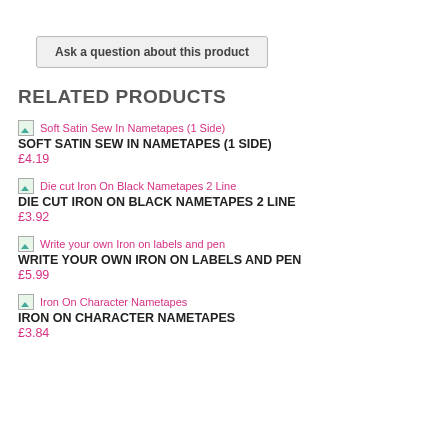Ask a question about this product
RELATED PRODUCTS
[Figure (other): Thumbnail image placeholder for Soft Satin Sew In Nametapes (1 Side)]
SOFT SATIN SEW IN NAMETAPES (1 SIDE)
£4.19
[Figure (other): Thumbnail image placeholder for Die cut Iron On Black Nametapes 2 Line]
DIE CUT IRON ON BLACK NAMETAPES 2 LINE
£3.92
[Figure (other): Thumbnail image placeholder for Write your own Iron on labels and pen]
WRITE YOUR OWN IRON ON LABELS AND PEN
£5.99
[Figure (other): Thumbnail image placeholder for Iron On Character Nametapes]
IRON ON CHARACTER NAMETAPES
£3.84